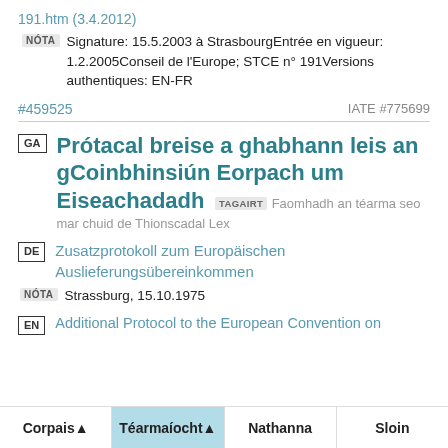191.htm (3.4.2012)
NÓTA Signature: 15.5.2003 à StrasbourgEntrée en vigueur: 1.2.2005Conseil de l'Europe; STCE n° 191Versions authentiques: EN-FR
#459525	IATE #775699
GA Prótacal breise a ghabhann leis an gCoinbhinsiún Eorpach um Eiseachadadh TAGAIRT Faomhadh an téarma seo mar chuid de Thionscadal Lex
DE Zusatzprotokoll zum Europäischen Auslieferungsübereinkommen
NÓTA Strassburg, 15.10.1975
EN Additional Protocol to the European Convention on
Corpais ▲	Téarmaíocht ▲	Nathanna	Sloin